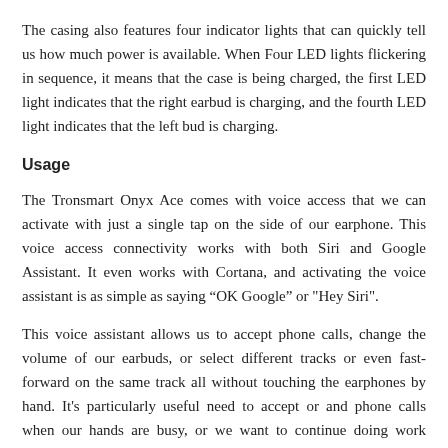The casing also features four indicator lights that can quickly tell us how much power is available. When Four LED lights flickering in sequence, it means that the case is being charged, the first LED light indicates that the right earbud is charging, and the fourth LED light indicates that the left bud is charging.
Usage
The Tronsmart Onyx Ace comes with voice access that we can activate with just a single tap on the side of our earphone. This voice access connectivity works with both Siri and Google Assistant. It even works with Cortana, and activating the voice assistant is as simple as saying “OK Google” or "Hey Siri".
This voice assistant allows us to accept phone calls, change the volume of our earbuds, or select different tracks or even fast-forward on the same track all without touching the earphones by hand. It's particularly useful need to accept or and phone calls when our hands are busy, or we want to continue doing work without breaking our